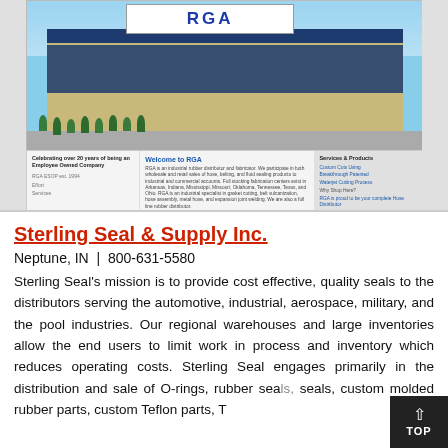[Figure (screenshot): Screenshot of RGA website showing building exterior photo and webpage content with Welcome to RGA section, Services & Products sidebar]
Sterling Seal & Supply Inc.
Neptune, IN  |  800-631-5580
Sterling Seal's mission is to provide cost effective, quality seals to the distributors serving the automotive, industrial, aerospace, military, and the pool industries. Our regional warehouses and large inventories allow the end users to limit work in process and inventory which reduces operating costs. Sterling Seal engages primarily in the distribution and sale of O-rings, rubber sea[ls], seals, custom molded rubber parts, custom Teflon parts, T[eflon]